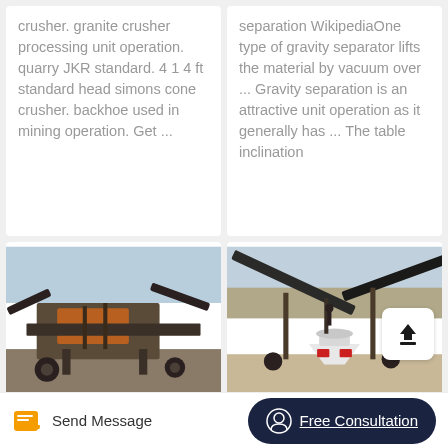crusher. granite crusher processing unit operation. quarry JKR standard. 4 1 4 ft standard head simons cone crusher. backhoe used in mining operation. Get ...
separation WikipediaOne type of gravity separator lifts the material by vacuum over ... Gravity separation is an attractive unit operation as it generally has ... The table inclination
[Figure (photo): Stationary crusher machine in a yard, rusty industrial equipment with conveyor belts]
[Figure (photo): Granite crusher machine outdoors in arid landscape with conveyor belts and a white conical crusher]
Stationary Crusher
Granite Crusher
Send Message
Free Consultation